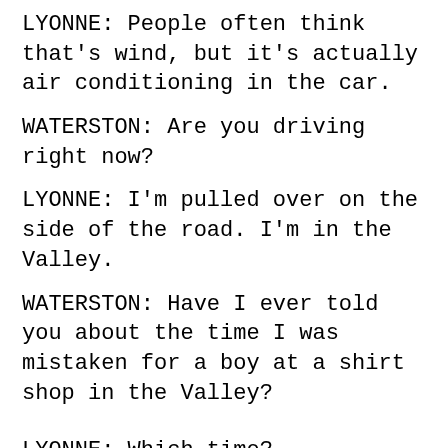LYONNE: People often think that's wind, but it's actually air conditioning in the car.
WATERSTON: Are you driving right now?
LYONNE: I'm pulled over on the side of the road. I'm in the Valley.
WATERSTON: Have I ever told you about the time I was mistaken for a boy at a shirt shop in the Valley?
LYONNE: Which time?
WATERSTON: Actually, you're right. It's happened to me multiple times—